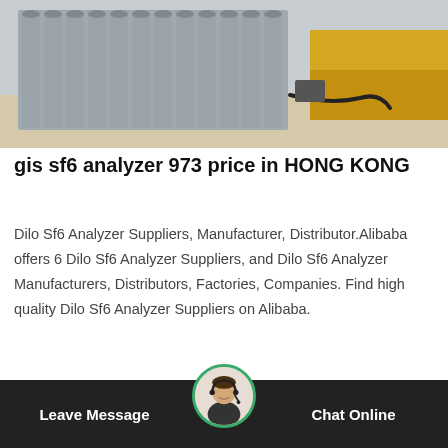[Figure (photo): Industrial gas cylinders (gray, standing upright) lined up outdoors near a yellow truck and concrete surface, with hoses connected.]
gis sf6 analyzer 973 price in HONG KONG
Dilo Sf6 Analyzer Suppliers, Manufacturer, Distributor.Alibaba offers 6 Dilo Sf6 Analyzer Suppliers, and Dilo Sf6 Analyzer Manufacturers, Distributors, Factories, Companies. Find high quality Dilo Sf6 Analyzer Suppliers on Alibaba.
Get Price
Leave Message   Chat Online